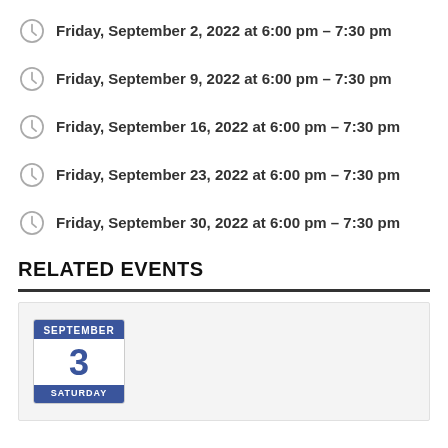Friday, September 2, 2022 at 6:00 pm – 7:30 pm
Friday, September 9, 2022 at 6:00 pm – 7:30 pm
Friday, September 16, 2022 at 6:00 pm – 7:30 pm
Friday, September 23, 2022 at 6:00 pm – 7:30 pm
Friday, September 30, 2022 at 6:00 pm – 7:30 pm
RELATED EVENTS
[Figure (infographic): Calendar badge showing September 3, Saturday]